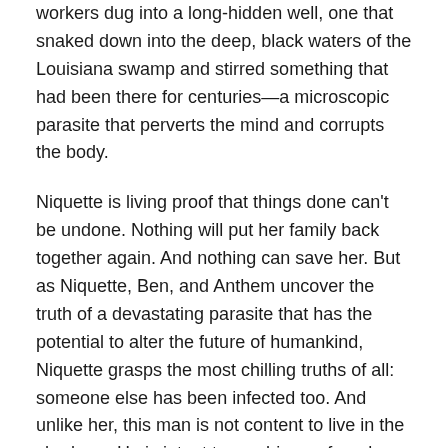workers dug into a long-hidden well, one that snaked down into the deep, black waters of the Louisiana swamp and stirred something that had been there for centuries—a microscopic parasite that perverts the mind and corrupts the body.
Niquette is living proof that things done can't be undone. Nothing will put her family back together again. And nothing can save her. But as Niquette, Ben, and Anthem uncover the truth of a devastating parasite that has the potential to alter the future of humankind, Niquette grasps the most chilling truths of all: someone else has been infected too. And unlike her, this man is not content to live in the shadows. He is intent to use his newfound powers for one reason only: revenge
The Interview: